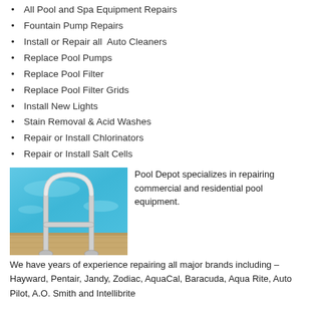All Pool and Spa Equipment Repairs
Fountain Pump Repairs
Install or Repair all Auto Cleaners
Replace Pool Pumps
Replace Pool Filter
Replace Pool Filter Grids
Install New Lights
Stain Removal & Acid Washes
Repair or Install Chlorinators
Repair or Install Salt Cells
[Figure (photo): Swimming pool with chrome metal handrail/ladder at the pool edge, blue water visible, wooden deck surround]
Pool Depot specializes in repairing commercial and residential pool equipment.
We have years of experience repairing all major brands including – Hayward, Pentair, Jandy, Zodiac, AquaCal, Baracuda, Aqua Rite, Auto Pilot, A.O. Smith and Intellibrite